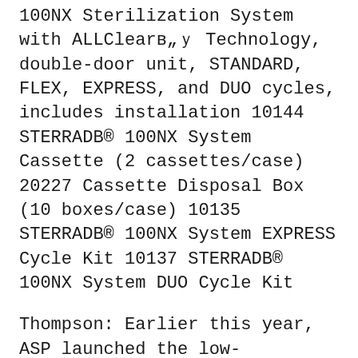100NX Sterilization System with ALLClearв„ÿ Technology, double-door unit, STANDARD, FLEX, EXPRESS, and DUO cycles, includes installation 10144 STERRADB® 100NX System Cassette (2 cassettes/case) 20227 Cassette Disposal Box (10 boxes/case) 10135 STERRADB® 100NX System EXPRESS Cycle Kit 10137 STERRADB® 100NX System DUO Cycle Kit
Thompson: Earlier this year, ASP launched the low-temperature sterilization systems the STERRAD 100NX and STERRAD NX with ALLClear Technology. The systems were designed specifically to address the challenges faced by Central Sterile Services